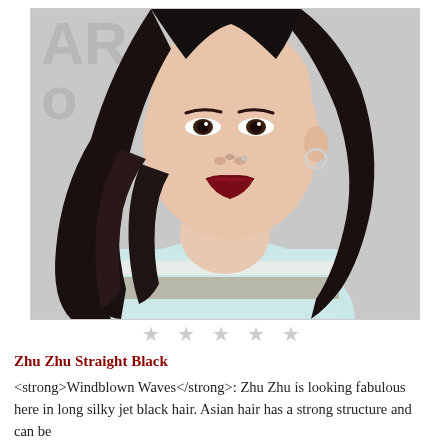[Figure (photo): A woman with long black wavy hair, dark red lipstick, wearing a light blue and grey striped top, photographed against a grey backdrop.]
★ ★ ★ ★ ★
Zhu Zhu Straight Black
<strong>Windblown Waves</strong>: Zhu Zhu is looking fabulous here in long silky jet black hair. Asian hair has a strong structure and can be